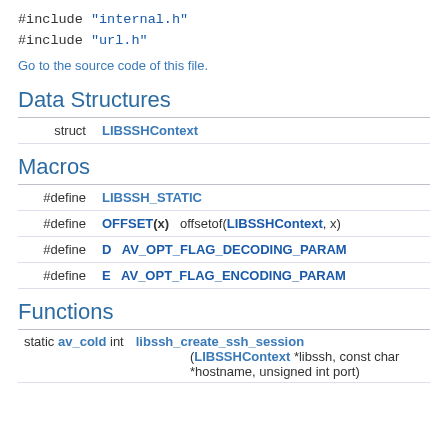#include "internal.h"
#include "url.h"
Go to the source code of this file.
Data Structures
|  |  |
| --- | --- |
| struct | LIBSSHContext |
Macros
|  |  |
| --- | --- |
| #define | LIBSSH_STATIC |
| #define | OFFSET(x)   offsetof(LIBSSHContext, x) |
| #define | D   AV_OPT_FLAG_DECODING_PARAM |
| #define | E   AV_OPT_FLAG_ENCODING_PARAM |
Functions
|  |  |
| --- | --- |
| static av_cold int | libssh_create_ssh_session (LIBSSHContext *libssh, const char *hostname, unsigned int port) |